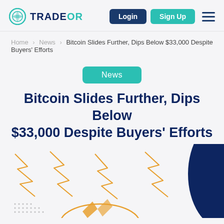TRADEOR — Login | Sign Up
Home > News > Bitcoin Slides Further, Dips Below $33,000 Despite Buyers' Efforts
News
Bitcoin Slides Further, Dips Below $33,000 Despite Buyers' Efforts
[Figure (illustration): Decorative graphic with orange zigzag/lightning bolt shapes, a dark navy semicircle on the right, and a Bitcoin/chart illustration at the bottom with dotted pattern and orange arrow shapes.]